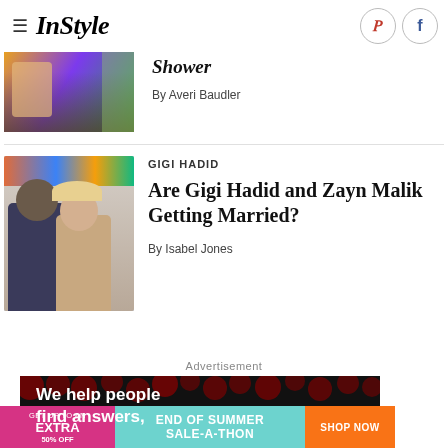InStyle
[Figure (photo): Partial article image showing colorful background, partially cropped at top]
Shower
By Averi Baudler
GIGI HADID
Are Gigi Hadid and Zayn Malik Getting Married?
By Isabel Jones
Advertisement
[Figure (photo): Advertisement banner with dark background, red polka dots, text: We help people find answers,]
[Figure (infographic): Bottom banner ad: GET UP TO AN EXTRA 50% OFF | END OF SUMMER SALE-A-THON | SHOP NOW]